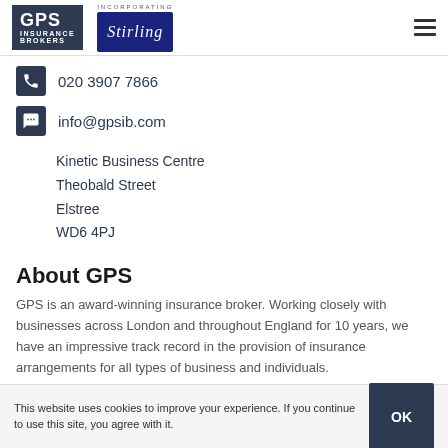[Figure (logo): GPS Insurance Brokers logo with dark navy background and white text, incorporating Stirling Insurance Services logo]
020 3907 7866
info@gpsib.com
Kinetic Business Centre
Theobald Street
Elstree
WD6 4PJ
About GPS
GPS is an award-winning insurance broker. Working closely with businesses across London and throughout England for 10 years, we have an impressive track record in the provision of insurance arrangements for all types of business and individuals.
This website uses cookies to improve your experience. If you continue to use this site, you agree with it.